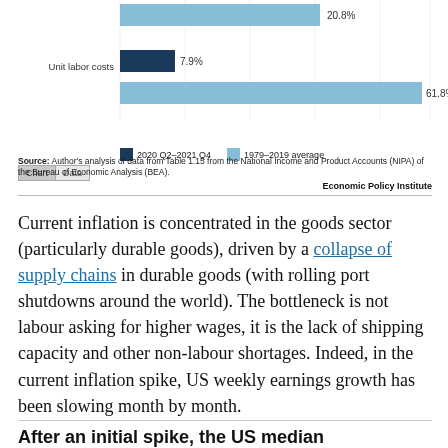[Figure (bar-chart): Unit labor costs comparison]
Source: Author's analysis of data from Table 1.15 from the National Income and Product Accounts (NIPA) of the Bureau of Economic Analysis (BEA).
Economic Policy Institute
Current inflation is concentrated in the goods sector (particularly durable goods), driven by a collapse of supply chains in durable goods (with rolling port shutdowns around the world). The bottleneck is not labour asking for higher wages, it is the lack of shipping capacity and other non-labour shortages. Indeed, in the current inflation spike, US weekly earnings growth has been slowing month by month.
After an initial spike, the US median